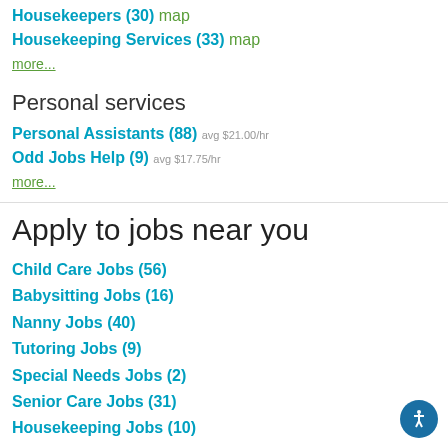Housekeepers (30) map
Housekeeping Services (33) map
more...
Personal services
Personal Assistants (88) avg $21.00/hr
Odd Jobs Help (9) avg $17.75/hr
more...
Apply to jobs near you
Child Care Jobs (56)
Babysitting Jobs (16)
Nanny Jobs (40)
Tutoring Jobs (9)
Special Needs Jobs (2)
Senior Care Jobs (31)
Housekeeping Jobs (10)
Pet Care Jobs (9)
Dog Walking Jobs (2)